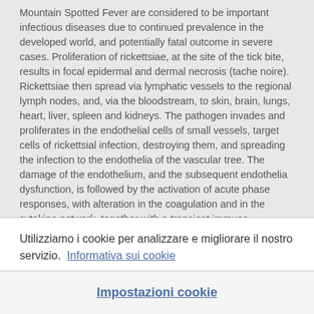Mountain Spotted Fever are considered to be important infectious diseases due to continued prevalence in the developed world, and potentially fatal outcome in severe cases. Proliferation of rickettsiae, at the site of the tick bite, results in focal epidermal and dermal necrosis (tache noire). Rickettsiae then spread via lymphatic vessels to the regional lymph nodes, and, via the bloodstream, to skin, brain, lungs, heart, liver, spleen and kidneys. The pathogen invades and proliferates in the endothelial cells of small vessels, target cells of rickettsial infection, destroying them, and spreading the infection to the endothelia of the vascular tree. The damage of the endothelium, and the subsequent endothelia dysfunction, is followed by the activation of acute phase responses, with alteration in the coagulation and in the cytokine network, together with a transient immune dysregulation, characterized by the reduction in
Utilizziamo i cookie per analizzare e migliorare il nostro servizio.  Informativa sui cookie
Impostazioni cookie